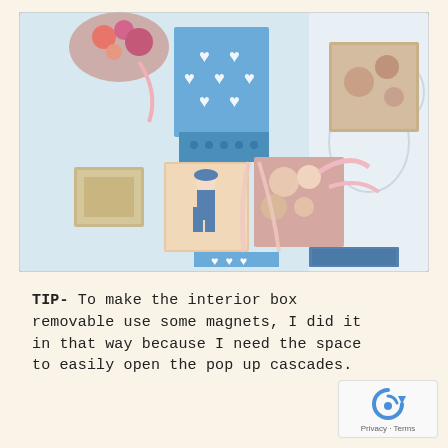[Figure (photo): Overhead view of decorative exploding/cascade gift boxes with colorful patterned paper featuring blue hearts and floral designs, opened and spread out on a light surface with ribbons]
TIP- To make the interior box removable use some magnets, I did it in that way because I need the space to easily open the pop up cascades.